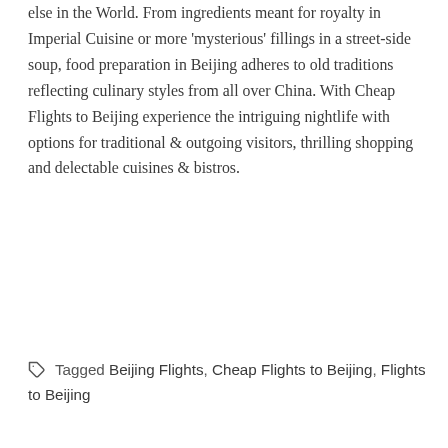else in the World. From ingredients meant for royalty in Imperial Cuisine or more 'mysterious' fillings in a street-side soup, food preparation in Beijing adheres to old traditions reflecting culinary styles from all over China. With Cheap Flights to Beijing experience the intriguing nightlife with options for traditional & outgoing visitors, thrilling shopping and delectable cuisines & bistros.
Tagged Beijing Flights, Cheap Flights to Beijing, Flights to Beijing
Author: admin
← Automobile Hire Bilbao, Spain
Soak up the offers of the Blissful Heaven with Flights to Cape Town →
Leave a Reply